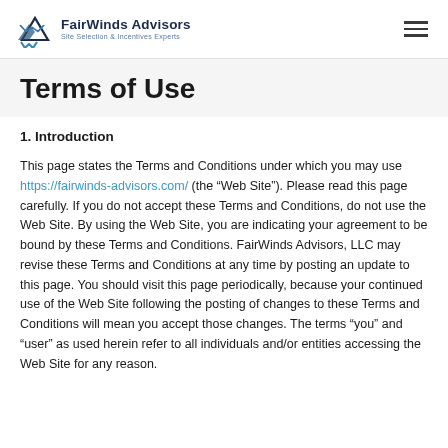FairWinds Advisors — Site Selection & Incentives Experts
Terms of Use
1. Introduction
This page states the Terms and Conditions under which you may use https://fairwinds-advisors.com/ (the “Web Site”). Please read this page carefully. If you do not accept these Terms and Conditions, do not use the Web Site. By using the Web Site, you are indicating your agreement to be bound by these Terms and Conditions. FairWinds Advisors, LLC may revise these Terms and Conditions at any time by posting an update to this page. You should visit this page periodically, because your continued use of the Web Site following the posting of changes to these Terms and Conditions will mean you accept those changes. The terms “you” and “user” as used herein refer to all individuals and/or entities accessing the Web Site for any reason.